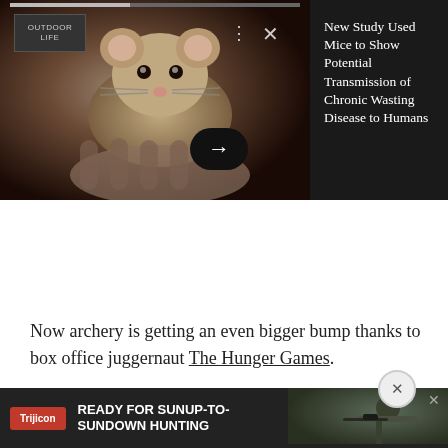[Figure (screenshot): Article card with photo of a mouse being held in a hand, from Outdoor Life, with headline about CWD study]
New Study Used Mice to Show Potential Transmission of Chronic Wasting Disease to Humans
[Figure (infographic): Advertisement banner: FOR FAMILIES WHO PLAY AS HARD AS THEY WORK - BUILD YOURS NOW]
Now archery is getting an even bigger bump thanks to box office juggernaut The Hunger Games.
The New York Daily News is reporting that that same Queens shooting range is seeing a 75 percent spike in busine
[Figure (infographic): Trijicon ad: READY FOR SUNUP-TO-SUNDOWN HUNTING with hunter photo]